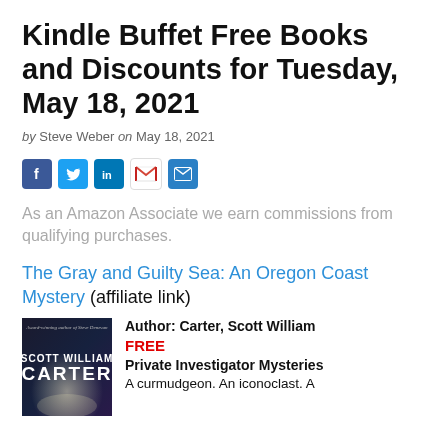Kindle Buffet Free Books and Discounts for Tuesday, May 18, 2021
by Steve Weber on May 18, 2021
[Figure (infographic): Social share buttons: Facebook (blue), Twitter (light blue), LinkedIn (dark blue), Gmail (red/white), Email (blue)]
As an Amazon Associate we earn commissions from qualifying purchases.
The Gray and Guilty Sea: An Oregon Coast Mystery (affiliate link)
[Figure (photo): Book cover for The Gray and Guilty Sea by Scott William Carter, dark atmospheric background with author name prominently displayed]
Author: Carter, Scott William
FREE
Private Investigator Mysteries
A curmudgeon. An iconoclast. A